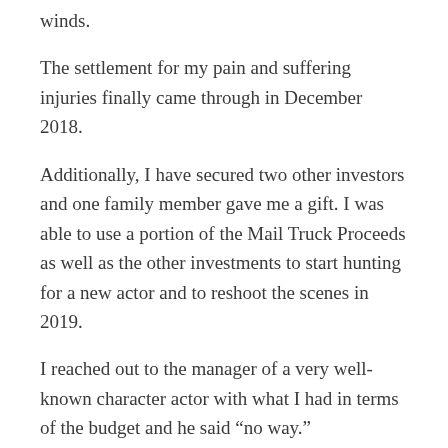winds.
The settlement for my pain and suffering injuries finally came through in December 2018.
Additionally, I have secured two other investors and one family member gave me a gift. I was able to use a portion of the Mail Truck Proceeds as well as the other investments to start hunting for a new actor and to reshoot the scenes in 2019.
I reached out to the manager of a very well-known character actor with what I had in terms of the budget and he said “no way.”